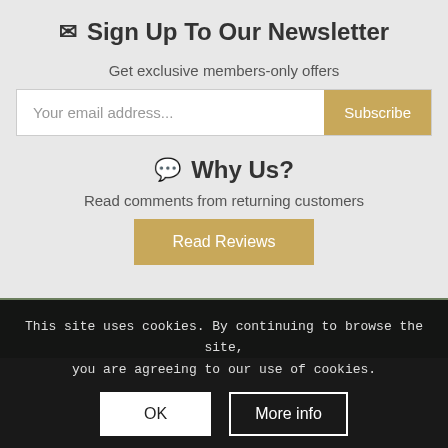✉ Sign Up To Our Newsletter
Get exclusive members-only offers
Your email address... Subscribe
💬 Why Us?
Read comments from returning customers
Read Reviews
This site uses cookies. By continuing to browse the site, you are agreeing to our use of cookies.
OK
More info
SHOP
My Account
Delivery & Returns
PRODUCT CATEGORIES
Aluminium Show Jump Wings